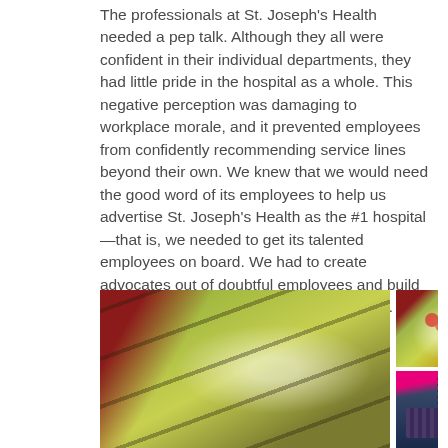The professionals at St. Joseph's Health needed a pep talk. Although they all were confident in their individual departments, they had little pride in the hospital as a whole. This negative perception was damaging to workplace morale, and it prevented employees from confidently recommending service lines beyond their own. We knew that we would need the good word of its employees to help us advertise St. Joseph's Health as the #1 hospital—that is, we needed to get its talented employees on board. We had to create advocates out of doubtful employees and build trust among the St. Joseph's Health family.
[Figure (photo): Three overlapping photos at the bottom of the page. Left: a large abstract/artistic image with red borders and yellow-green organic shapes with dark curved lines (possibly an X-ray or art piece). Top right: a smaller similar abstract image with red dot details. Bottom right: a person's lower body in jeans tying bright pink sneaker laces, with a dotted/patterned shirt visible.]